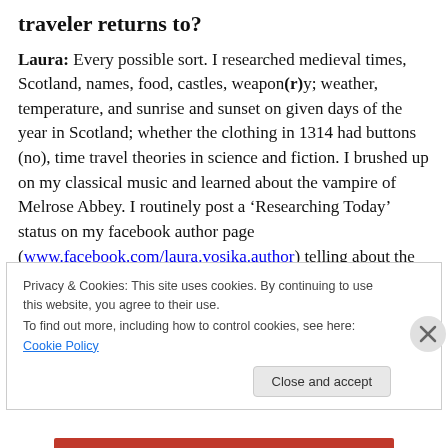traveler returns to?
Laura: Every possible sort. I researched medieval times, Scotland, names, food, castles, weapon(r)y; weather, temperature, and sunrise and sunset on given days of the year in Scotland; whether the clothing in 1314 had buttons (no), time travel theories in science and fiction. I brushed up on my classical music and learned about the vampire of Melrose Abbey. I routinely post a ‘Researching Today’ status on my facebook author page (www.facebook.com/laura.vosika.author) telling about the
Privacy & Cookies: This site uses cookies. By continuing to use this website, you agree to their use.
To find out more, including how to control cookies, see here: Cookie Policy